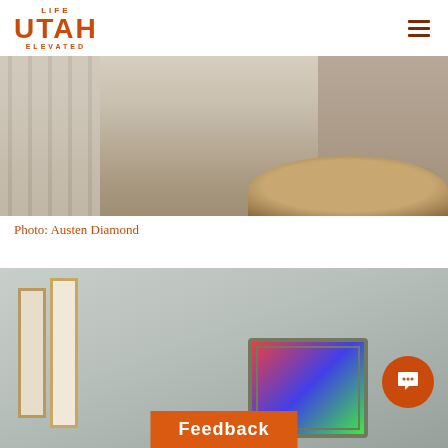LIFE UTAH ELEVATED
[Figure (photo): Close-up photograph showing architectural stone base/steps with a round fur rug and the lower legs/feet of a person wearing dress shoes.]
Photo: Austen Diamond
[Figure (photo): Interior gallery/hallway photo showing framed artwork on walls and a decorative frame in the foreground, with a chat button overlay and Feedback tab visible.]